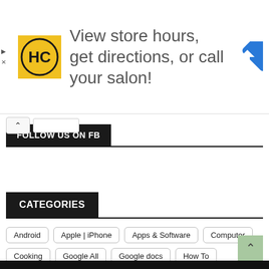[Figure (screenshot): Advertisement banner with HC logo, text 'View store hours, get directions, or call your salon!' and a blue direction arrow icon]
FOLLOW US ON FB
CATEGORIES
Android
Apple | iPhone
Apps & Software
Computer
Cooking
Google All
Google docs
How To
Internet
kitchen
Language Translation
Microsoft & Windows
Social Network
Special Networks
Wifi & Networks